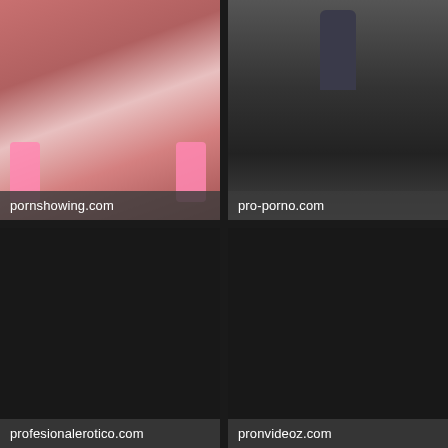[Figure (photo): Adult content thumbnail with pink socks, labeled pornshowing.com]
pornshowing.com
[Figure (photo): Adult content thumbnail, dark room figure, labeled pro-porno.com]
pro-porno.com
[Figure (photo): Dark placeholder thumbnail labeled profesionalerotico.com]
profesionalerotico.com
[Figure (photo): Dark placeholder thumbnail labeled pronvideoz.com]
pronvideoz.com